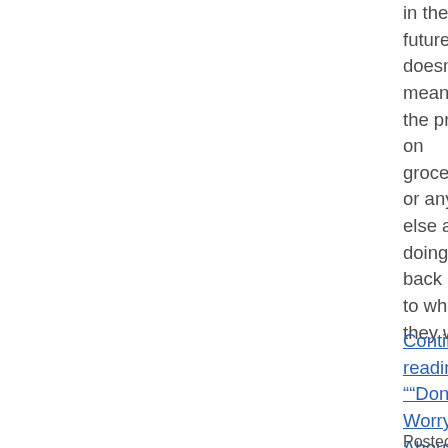in the future, doesn't mean that the prices on groceries or anything else are doing to go back down to where they were.
Continue reading "“Don’t Worry About Inflation. It’s Transitory.”” »
Posted by